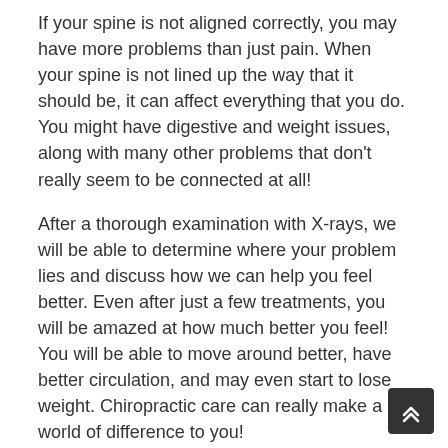If your spine is not aligned correctly, you may have more problems than just pain. When your spine is not lined up the way that it should be, it can affect everything that you do. You might have digestive and weight issues, along with many other problems that don't really seem to be connected at all!
After a thorough examination with X-rays, we will be able to determine where your problem lies and discuss how we can help you feel better. Even after just a few treatments, you will be amazed at how much better you feel! You will be able to move around better, have better circulation, and may even start to lose weight. Chiropractic care can really make a world of difference to you!
If you have any questions about how we can get you out of pain (or just make you feel a lot better), don't